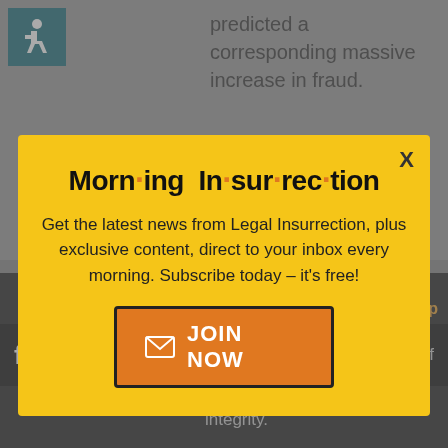[Figure (screenshot): Accessibility wheelchair icon in teal/dark cyan box, top-left corner of background page]
predicted a corresponding massive increase in fraud.
Trump's commission
[Figure (infographic): Morning Insurrection popup modal with yellow background, title 'Morn·ing In·sur·rec·tion', subscription text, and JOIN NOW button]
And t have
Back to top
[Figure (screenshot): Fiverr advertisement bar at bottom with Start Now button]
integrity.